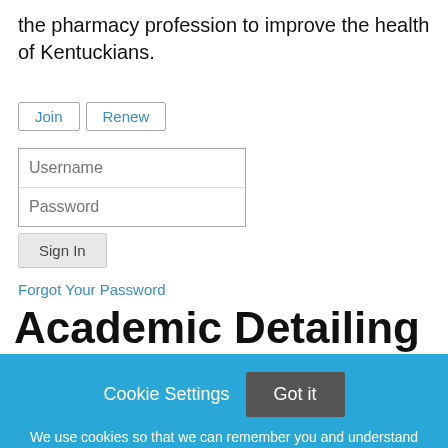the pharmacy profession to improve the health of Kentuckians.
Join  Renew
Username
Password
Sign In
Forgot Your Password
Academic Detailing
Cookie Settings  Got it
We use cookies so that we can remember you and understand how you use our site. If you do not agree with our use of cookies, please change the current settings found in our Cookie Policy. Otherwise, you agree to the use of the cookies as they are currently set.